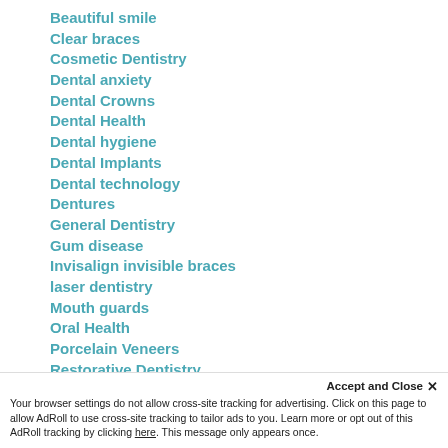Beautiful smile
Clear braces
Cosmetic Dentistry
Dental anxiety
Dental Crowns
Dental Health
Dental hygiene
Dental Implants
Dental technology
Dentures
General Dentistry
Gum disease
Invisalign invisible braces
laser dentistry
Mouth guards
Oral Health
Porcelain Veneers
Restorative Dentistry
Sedation Dentistry
Sleep apnea
Smile Redesign
Tooth Whitening
Accept and Close ×
Your browser settings do not allow cross-site tracking for advertising. Click on this page to allow AdRoll to use cross-site tracking to tailor ads to you. Learn more or opt out of this AdRoll tracking by clicking here. This message only appears once.